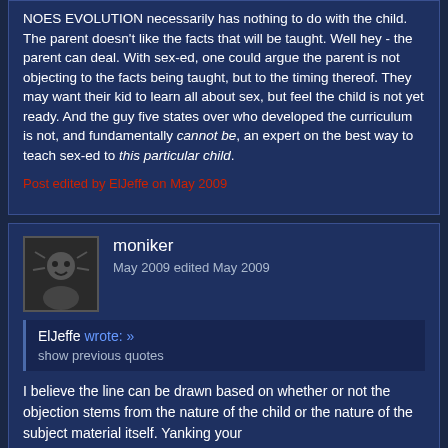NOES EVOLUTION necessarily has nothing to do with the child. The parent doesn't like the facts that will be taught. Well hey - the parent can deal. With sex-ed, one could argue the parent is not objecting to the facts being taught, but to the timing thereof. They may want their kid to learn all about sex, but feel the child is not yet ready. And the guy five states over who developed the curriculum is not, and fundamentally cannot be, an expert on the best way to teach sex-ed to this particular child.
Post edited by ElJeffe on May 2009
moniker
May 2009 edited May 2009
ElJeffe wrote: »
show previous quotes
I believe the line can be drawn based on whether or not the objection stems from the nature of the child or the nature of the subject material itself. Yanking your